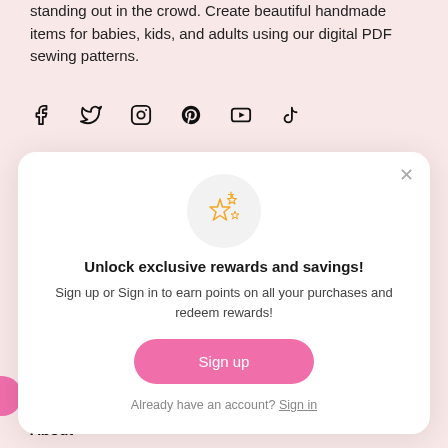standing out in the crowd. Create beautiful handmade items for babies, kids, and adults using our digital PDF sewing patterns.
[Figure (infographic): Row of social media icons: Facebook, Twitter, Instagram, Pinterest, YouTube, TikTok]
[Figure (infographic): Modal dialog with sparkles icon, title 'Unlock exclusive rewards and savings!', description text, Sign up button, and sign in link]
About